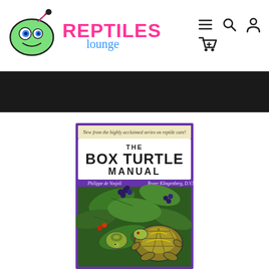[Figure (logo): Reptiles Lounge website header with cartoon turtle logo, REPTILES LOUNGE brand name, and navigation icons (hamburger menu, search, user, cart)]
[Figure (photo): Book cover of 'The Box Turtle Manual' by Philippe de Vosjoli and Roger Klingenberg DVM, featuring illustration of box turtles among green foliage and berries, on purple background with text 'New from the highly acclaimed series on reptile care!']